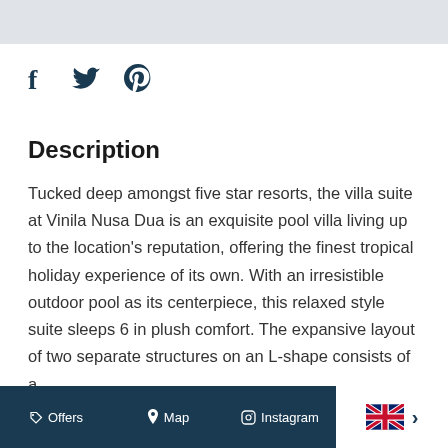[Figure (other): Grey top bar / header banner area]
[Figure (other): Social media share icons: Facebook (f), Twitter (bird), Pinterest (P)]
Description
Tucked deep amongst five star resorts, the villa suite at Vinila Nusa Dua is an exquisite pool villa living up to the location's reputation, offering the finest tropical holiday experience of its own. With an irresistible outdoor pool as its centerpiece, this relaxed style suite sleeps 6 in plush comfort. The expansive layout of two separate structures on an L-shape consists of a
Offers  Map  Instagram  [UK flag] >